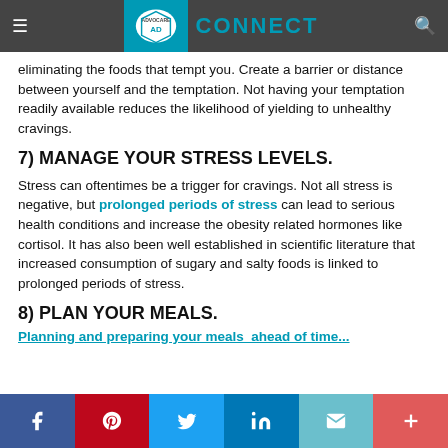AdvoCare Connect
eliminating the foods that tempt you. Create a barrier or distance between yourself and the temptation. Not having your temptation readily available reduces the likelihood of yielding to unhealthy cravings.
7) MANAGE YOUR STRESS LEVELS.
Stress can oftentimes be a trigger for cravings. Not all stress is negative, but prolonged periods of stress can lead to serious health conditions and increase the obesity related hormones like cortisol. It has also been well established in scientific literature that increased consumption of sugary and salty foods is linked to prolonged periods of stress.
8) PLAN YOUR MEALS.
Planning and preparing your meals ahead of time...